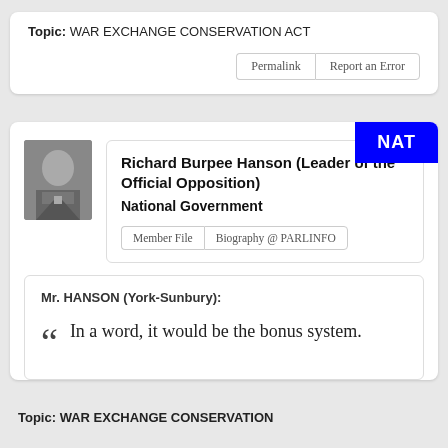Topic: WAR EXCHANGE CONSERVATION ACT
Permalink | Report an Error
NAT
[Figure (photo): Black and white portrait photo of Richard Burpee Hanson]
Richard Burpee Hanson (Leader of the Official Opposition)
National Government
Member File | Biography @ PARLINFO
Mr. HANSON (York-Sunbury):
In a word, it would be the bonus system.
Topic: WAR EXCHANGE CONSERVATION